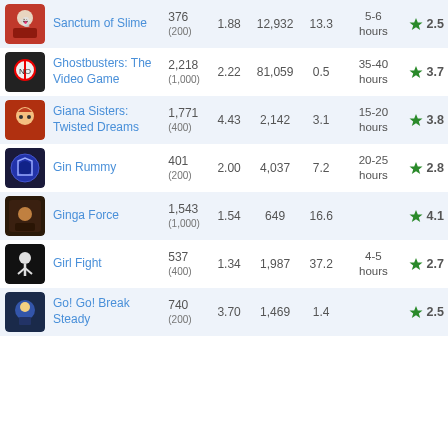| Icon | Game | Points | Ratio | Players | Comp% | Time | Rating |
| --- | --- | --- | --- | --- | --- | --- | --- |
| [img] | Sanctum of Slime | 376 (200) | 1.88 | 12,932 | 13.3 | 5-6 hours | ★ 2.5 |
| [img] | Ghostbusters: The Video Game | 2,218 (1,000) | 2.22 | 81,059 | 0.5 | 35-40 hours | ★ 3.7 |
| [img] | Giana Sisters: Twisted Dreams | 1,771 (400) | 4.43 | 2,142 | 3.1 | 15-20 hours | ★ 3.8 |
| [img] | Gin Rummy | 401 (200) | 2.00 | 4,037 | 7.2 | 20-25 hours | ★ 2.8 |
| [img] | Ginga Force | 1,543 (1,000) | 1.54 | 649 | 16.6 |  | ★ 4.1 |
| [img] | Girl Fight | 537 (400) | 1.34 | 1,987 | 37.2 | 4-5 hours | ★ 2.7 |
| [img] | Go! Go! Break Steady | 740 (200) | 3.70 | 1,469 | 1.4 |  | ★ 2.5 |